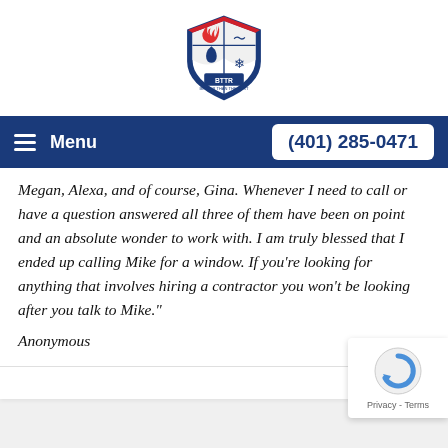[Figure (logo): BTTR (Better Than The Rest) shield logo with red and blue sections, flames, water drop, and snowflake icons]
Menu    (401) 285-0471
Megan, Alexa, and of course, Gina. Whenever I need to call or have a question answered all three of them have been on point and an absolute wonder to work with. I am truly blessed that I ended up calling Mike for a window. If you're looking for anything that involves hiring a contractor you won't be looking after you talk to Mike."
Anonymous
[Figure (logo): Google reCAPTCHA badge with circular arrow icon and Privacy - Terms text]